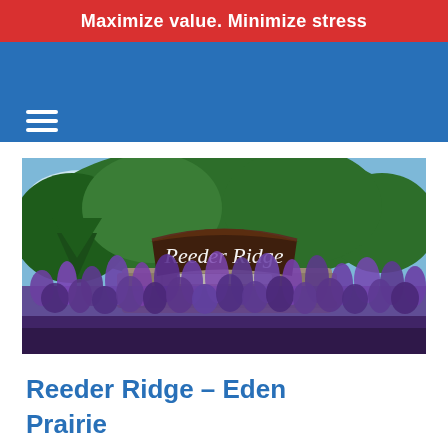Maximize value. Minimize stress
[Figure (photo): Entrance sign for Reeder Ridge neighborhood with brown curved wooden sign reading 'Reeder Ridge' in white script, surrounded by tall purple lavender flowers and lush green trees against a blue sky.]
Reeder Ridge – Eden Prairie Neighborhood